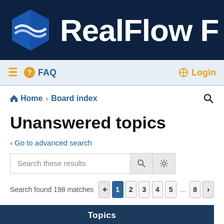[Figure (logo): RealFlow forum header banner with hexagonal blue logo and 'RealFlow F' text on dark navy background]
≡ ? FAQ   Login
Home › Board index
Unanswered topics
‹ Go to advanced search
Search these results   Search found 198 matches   1 2 3 4 5 ... 8 >
Topics